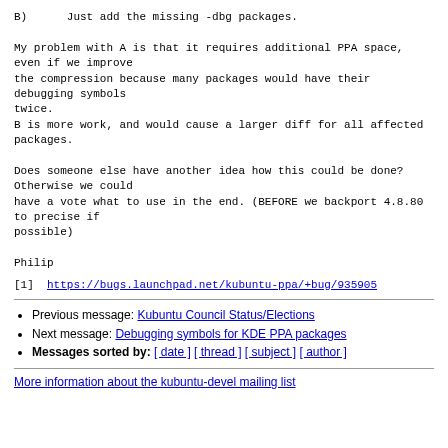B)      Just add the missing -dbg packages.

My problem with A is that it requires additional PPA space, even if we improve
the compression because many packages would have their debugging symbols
twice.
B is more work, and would cause a larger diff for all affected packages.

Does someone else have another idea how this could be done? Otherwise we could
have a vote what to use in the end. (BEFORE we backport 4.8.80 to precise if
possible)

Philip
[1]  https://bugs.launchpad.net/kubuntu-ppa/+bug/935905
Previous message: Kubuntu Council Status/Elections
Next message: Debugging symbols for KDE PPA packages
Messages sorted by: [ date ] [ thread ] [ subject ] [ author ]
More information about the kubuntu-devel mailing list